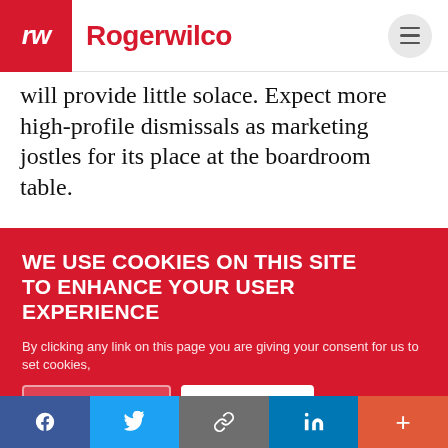Rogerwilco
will provide little solace. Expect more high-profile dismissals as marketing jostles for its place at the boardroom table.
WE USE COOKIES ON THIS SITE TO ENHANCE YOUR USER EXPERIENCE
By clicking any link on this page you are giving your consent for us to set cookies,
PREFERENCES  YES, I ACCEPT